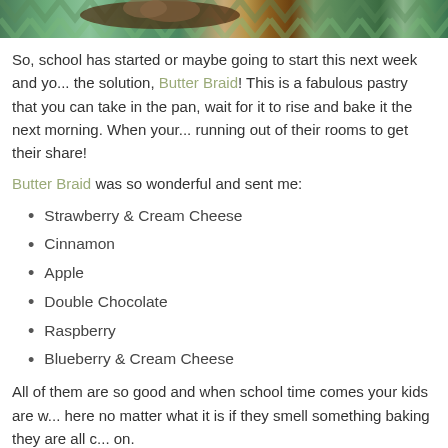[Figure (photo): Photo strip at top showing chocolate pastry/brownie with ice cream on a colorful chevron/zigzag patterned surface]
So, school has started or maybe going to start this next week and yo... the solution, Butter Braid! This is a fabulous pastry that you can take in the pan, wait for it to rise and bake it the next morning. When your... running out of their rooms to get their share!
Butter Braid was so wonderful and sent me:
Strawberry & Cream Cheese
Cinnamon
Apple
Double Chocolate
Raspberry
Blueberry & Cream Cheese
All of them are so good and when school time comes your kids are w... here no matter what it is if they smell something baking they are all c... on.
I like how you can have the Butter Braid in the freezer, and if you get...